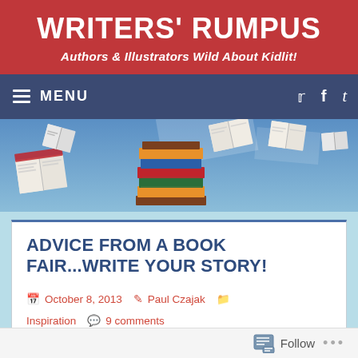WRITERS' RUMPUS
Authors & Illustrators Wild About Kidlit!
[Figure (screenshot): Navigation bar with hamburger menu icon and MENU text on dark blue background, with Twitter, Facebook, and Tumblr social icons on the right]
[Figure (photo): Hero image of books flying through the air against a blue sky, with a stack of colorful books in the center]
ADVICE FROM A BOOK FAIR...WRITE YOUR STORY!
October 8, 2013   Paul Czajak   Inspiration   9 comments